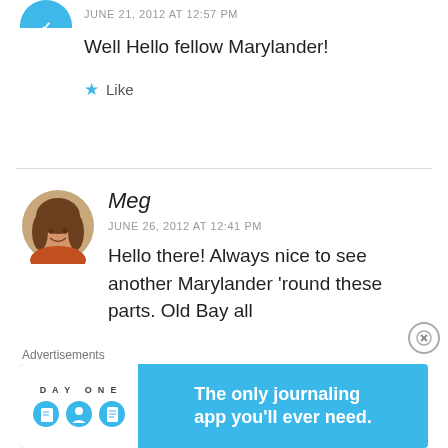JUNE 21, 2012 AT 12:57 PM
Well Hello fellow Marylander!
Like
Meg
JUNE 26, 2012 AT 12:41 PM
Hello there! Always nice to see another Marylander 'round these parts. Old Bay all
Advertisements
[Figure (illustration): Day One app advertisement banner - light blue background with white left panel showing 'DAY ONE' text and three circular icons (notebook, person, document), and text 'The only journaling app you’ll ever need.']